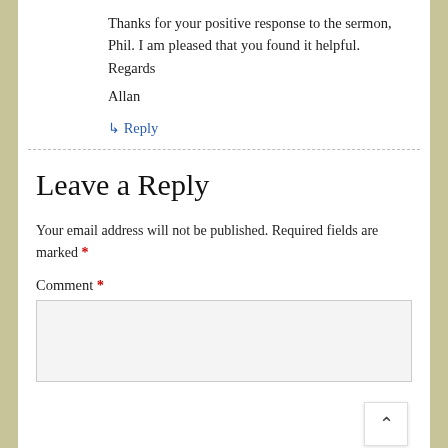Thanks for your positive response to the sermon, Phil. I am pleased that you found it helpful. Regards

Allan
↳ Reply
Leave a Reply
Your email address will not be published. Required fields are marked *
Comment *